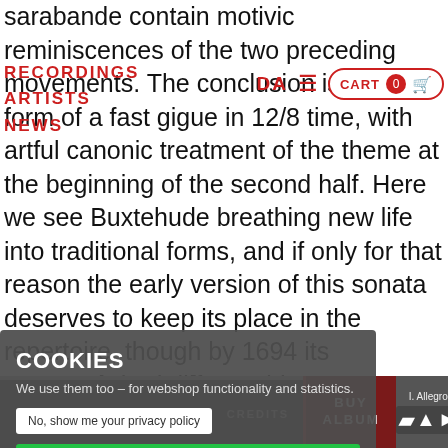sarabande contain motivic reminiscences of the two preceding movements. The conclusion is in the form of a fast gigue in 12/8 time, with artful canonic treatment of the theme at the beginning of the second half. Here we see Buxtehude breathing new life into traditional forms, and if only for that reason the early version of this sonata deserves to keep its place in the repertoire, though by 1694 its composer had different ideas.
RECORDINGS ARTISTS NEWS | DA | CART 0
Sonata in F major, BuxWV 266
If Buxtehude had realized his intention of publishing yet another collection of sonatas, as had been announced in 1684, this work would surely have been assigned a prominent place in it. It sums up all the principal elements in the sonata art of the... ness and daringly expressive
[Figure (screenshot): Cookie consent overlay with title COOKIES, text 'We use them too – for webshop functionality and statistics.', a 'No, show me your privacy policy' button, a green 'OK, FINE BY ME' button, and a 'NO, THANKS' button in red text.]
TRACK | LINER | CREDITS | BUY ALBUM | I. Allegro [player controls]